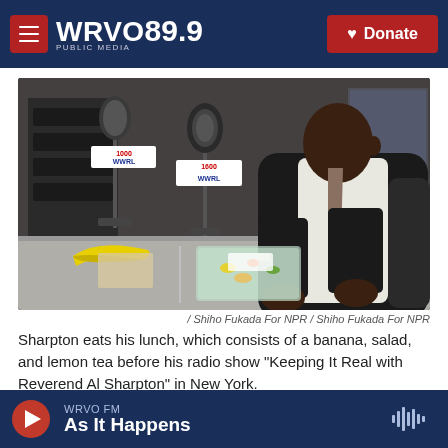WRVO 89.9 PUBLIC MEDIA — Donate
[Figure (photo): Al Sharpton eating lunch at a radio studio desk with a banana, salad, and microphone visible. WWRL radio station signage in background.]
/ Shiho Fukada For NPR / Shiho Fukada For NPR
Sharpton eats his lunch, which consists of a banana, salad, and lemon tea before his radio show "Keeping It Real with Reverend Al Sharpton" in New York.
WRVO FM — As It Happens